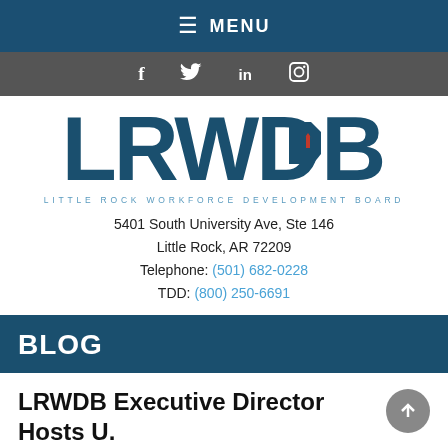≡ MENU
[Figure (infographic): Social media icons: Facebook (f), Twitter (bird), LinkedIn (in), Instagram (camera)]
[Figure (logo): LRWDB logo — large dark teal letters with Arkansas state silhouette in the B, subtitle: LITTLE ROCK WORKFORCE DEVELOPMENT BOARD]
5401 South University Ave, Ste 146
Little Rock, AR 72209
Telephone: (501) 682-0228
TDD: (800) 250-6691
BLOG
LRWDB Executive Director Hosts U.